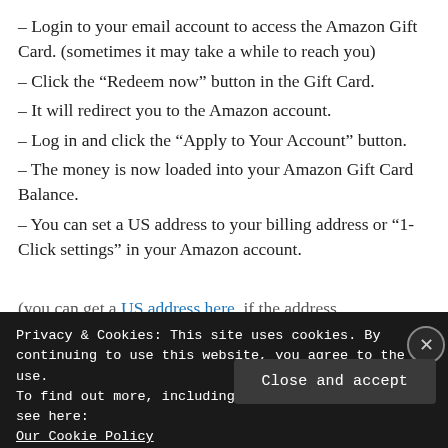– Login to your email account to access the Amazon Gift Card. (sometimes it may take a while to reach you)
– Click the “Redeem now” button in the Gift Card.
– It will redirect you to the Amazon account.
– Log in and click the “Apply to Your Account” button.
– The money is now loaded into your Amazon Gift Card Balance.
– You can set a US address to your billing address or “1-Click settings” in your Amazon account.
(you can get a US address here, if the address
Privacy & Cookies: This site uses cookies. By continuing to use this website, you agree to their use.
To find out more, including how to control cookies, see here: Our Cookie Policy
Close and accept